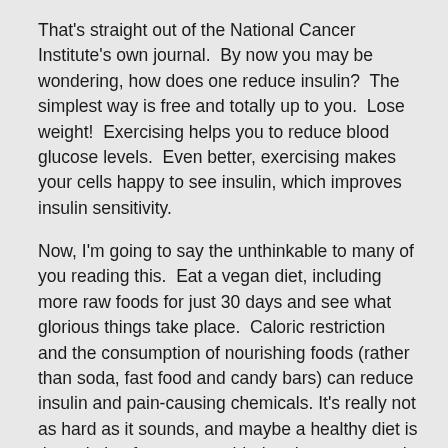That's straight out of the National Cancer Institute's own journal.  By now you may be wondering, how does one reduce insulin?  The simplest way is free and totally up to you.  Lose weight!  Exercising helps you to reduce blood glucose levels.  Even better, exercising makes your cells happy to see insulin, which improves insulin sensitivity.
Now, I'm going to say the unthinkable to many of you reading this.  Eat a vegan diet, including more raw foods for just 30 days and see what glorious things take place.  Caloric restriction and the consumption of nourishing foods (rather than soda, fast food and candy bars) can reduce insulin and pain-causing chemicals. It's really not as hard as it sounds, and maybe a healthy diet is the solution for you, considering the current path you're facing. With dietary compliance, your doctor may be able to discontinue some of your medications.